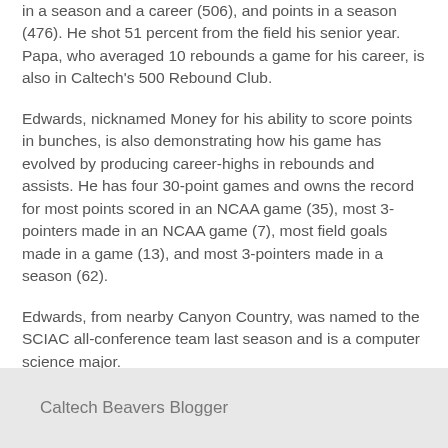in a season and a career (506), and points in a season (476). He shot 51 percent from the field his senior year. Papa, who averaged 10 rebounds a game for his career, is also in Caltech's 500 Rebound Club.
Edwards, nicknamed Money for his ability to score points in bunches, is also demonstrating how his game has evolved by producing career-highs in rebounds and assists. He has four 30-point games and owns the record for most points scored in an NCAA game (35), most 3-pointers made in an NCAA game (7), most field goals made in a game (13), and most 3-pointers made in a season (62).
Edwards, from nearby Canyon Country, was named to the SCIAC all-conference team last season and is a computer science major.
Caltech Beavers Blogger